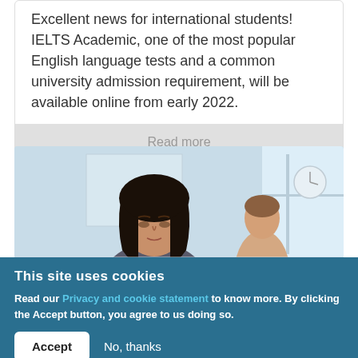Excellent news for international students! IELTS Academic, one of the most popular English language tests and a common university admission requirement, will be available online from early 2022.
Read more
[Figure (photo): Photo of a female student with dark hair looking down, with other students in background in a bright room]
This site uses cookies
Read our Privacy and cookie statement to know more. By clicking the Accept button, you agree to us doing so.
Accept
No, thanks